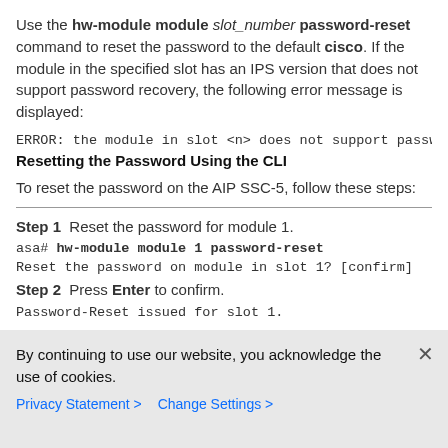Use the hw-module module slot_number password-reset command to reset the password to the default cisco. If the module in the specified slot has an IPS version that does not support password recovery, the following error message is displayed:
ERROR: the module in slot <n> does not support passw
Resetting the Password Using the CLI
To reset the password on the AIP SSC-5, follow these steps:
Step 1  Reset the password for module 1.
asa# hw-module module 1 password-reset
Reset the password on module in slot 1? [confirm]
Step 2  Press Enter to confirm.
Password-Reset issued for slot 1.
By continuing to use our website, you acknowledge the use of cookies.
Privacy Statement > Change Settings >